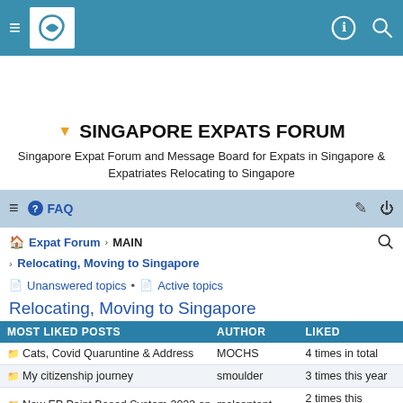Singapore Expats Forum navigation bar with logo, hamburger menu, and search/profile icons
SINGAPORE EXPATS FORUM
Singapore Expat Forum and Message Board for Expats in Singapore & Expatriates Relocating to Singapore
FAQ
Expat Forum › MAIN
› Relocating, Moving to Singapore
Unanswered topics • Active topics
Relocating, Moving to Singapore
| MOST LIKED POSTS | AUTHOR | LIKED |
| --- | --- | --- |
| Cats, Covid Quaruntine & Address | MOCHS | 4 times in total |
| My citizenship journey | smoulder | 3 times this year |
| New EP Point Based System 2023 onwards. Th… | malcontent | 2 times this month |
| New EP Point Based System 2023 onwards. Th… | Wd40 | 2 times this week |